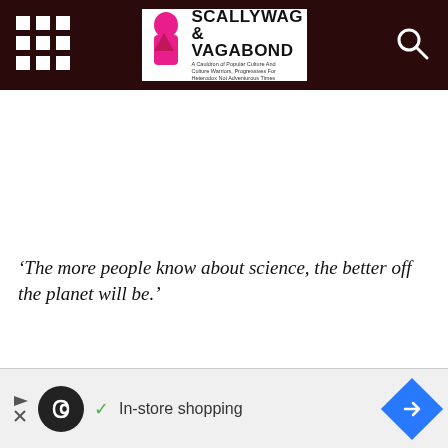Scallywag & Vagabond
‘The more people know about science, the better off the planet will be.’
‘I’m a huge fan of both Bill Nye and Buzz Aldrin’, said Nick Graham after the show. ‘Both of them have had an enormous impact on our understanding of science and space. To work with them on the Ma[rs] show is s[omething]...’
[Figure (other): Advertisement bar with infinity symbol icon, In-store shopping text, and navigation arrow diamond icon]